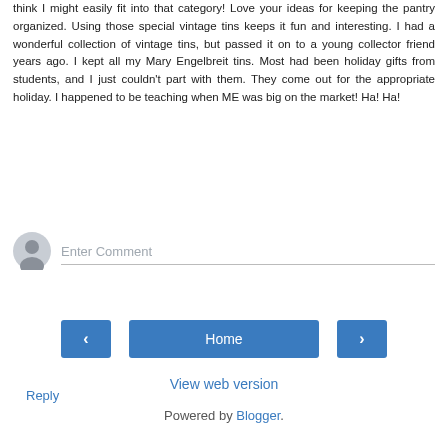think I might easily fit into that category! Love your ideas for keeping the pantry organized. Using those special vintage tins keeps it fun and interesting. I had a wonderful collection of vintage tins, but passed it on to a young collector friend years ago. I kept all my Mary Engelbreit tins. Most had been holiday gifts from students, and I just couldn't part with them. They come out for the appropriate holiday. I happened to be teaching when ME was big on the market! Ha! Ha!
Reply
[Figure (other): User avatar placeholder circle icon for comment input]
Enter Comment
[Figure (other): Navigation buttons: left arrow, Home, right arrow]
View web version
Powered by Blogger.